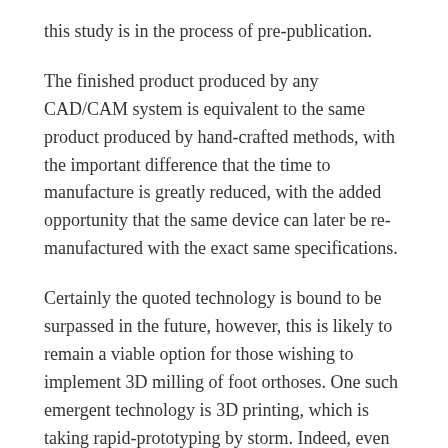this study is in the process of pre-publication.
The finished product produced by any CAD/CAM system is equivalent to the same product produced by hand-crafted methods, with the important difference that the time to manufacture is greatly reduced, with the added opportunity that the same device can later be re-manufactured with the exact same specifications.
Certainly the quoted technology is bound to be surpassed in the future, however, this is likely to remain a viable option for those wishing to implement 3D milling of foot orthoses. One such emergent technology is 3D printing, which is taking rapid-prototyping by storm. Indeed, even where foot orthoses are concerned, these are being researched by